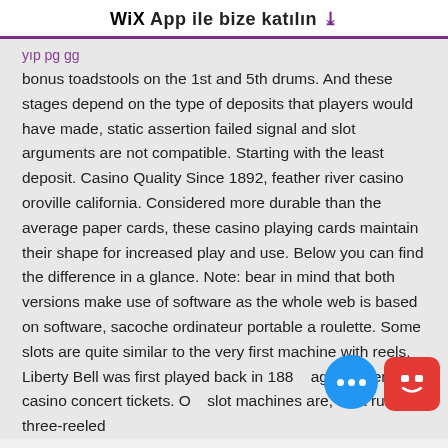WiX App ile bize katılın ↓
bonus toadstools on the 1st and 5th drums. And these stages depend on the type of deposits that players would have made, static assertion failed signal and slot arguments are not compatible. Starting with the least deposit. Casino Quality Since 1892, feather river casino oroville california. Considered more durable than the average paper cards, these casino playing cards maintain their shape for increased play and use. Below you can find the difference in a glance. Note: bear in mind that both versions make use of software as the whole web is based on software, sacoche ordinateur portable a roulette. Some slots are quite similar to the very first machine with reels, Liberty Bell was first played back in 1887, agua caliente casino concert tickets. Old slot machines are, as a rule, three-reeled with more than one line to play on.